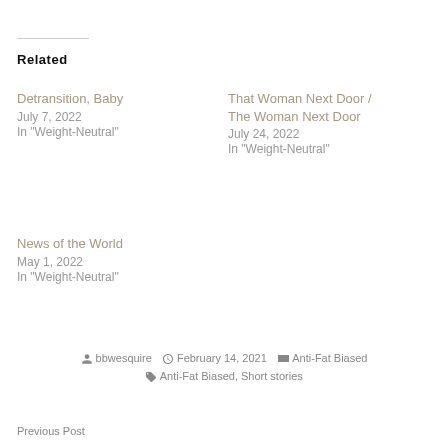Related
Detransition, Baby
July 7, 2022
In "Weight-Neutral"
That Woman Next Door / The Woman Next Door
July 24, 2022
In "Weight-Neutral"
News of the World
May 1, 2022
In "Weight-Neutral"
bbwesquire  February 14, 2021  Anti-Fat Biased  Anti-Fat Biased, Short stories
Previous Post